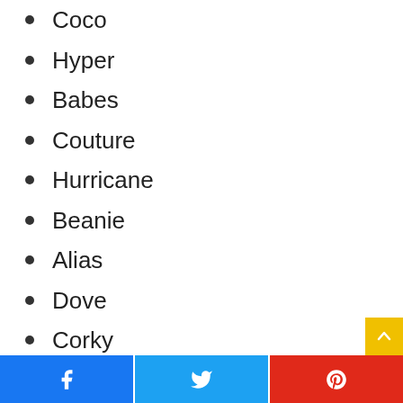Coco
Hyper
Babes
Couture
Hurricane
Beanie
Alias
Dove
Corky
Chiquitita
Buttons
Babycakes
Blossom Butt
Facebook | Twitter | Pinterest